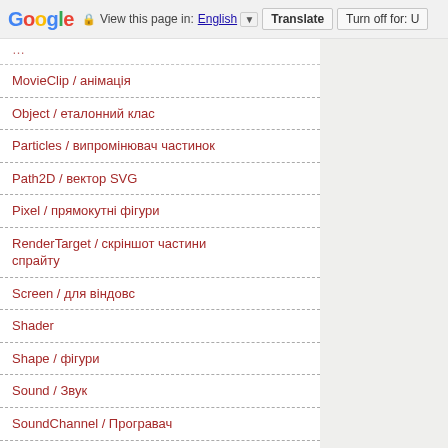Google — View this page in: English [▼] Translate | Turn off for: U
MovieClip / анімація
Object / еталонний клас
Particles / випромінювач частинок
Path2D / вектор SVG
Pixel / прямокутні фігури
RenderTarget / скріншот частини спрайту
Screen / для віндовс
Shader
Shape / фігури
Sound / Звук
SoundChannel / Програвач
Sprite /Спрайт
Stage / Сцена
TextField / текст
TextInputDialog /Діалог вводу
Texture / Зоображення